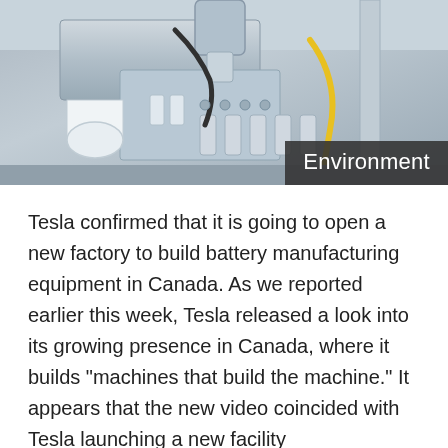[Figure (photo): Industrial battery manufacturing equipment/machinery in a factory setting, showing automated machinery with metal components, tubing, cylinders, and yellow cable. Has 'Environment' category label overlay in bottom-right corner.]
Tesla confirmed that it is going to open a new factory to build battery manufacturing equipment in Canada. As we reported earlier this week, Tesla released a look into its growing presence in Canada, where it builds "machines that build the machine." It appears that the new video coincided with Tesla launching a new facility
... read more